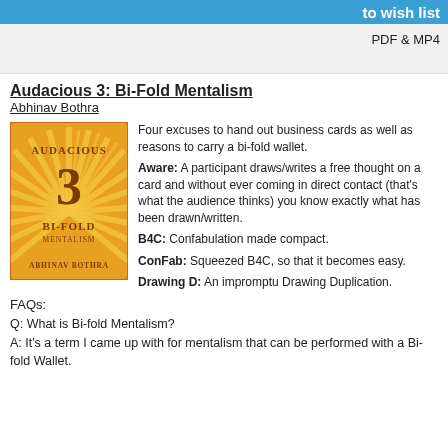to wish list
PDF & MP4
Audacious 3: Bi-Fold Mentalism
Abhinav Bothra
[Figure (illustration): Book cover for Audacious 3: Bi-Fold Mentalism by Abhinav Bothra — gold/yellow starburst design with large '3' in the center]
Four excuses to hand out business cards as well as reasons to carry a bi-fold wallet.

Aware: A participant draws/writes a free thought on a card and without ever coming in direct contact (that's what the audience thinks) you know exactly what has been drawn/written.

B4C: Confabulation made compact.

ConFab: Squeezed B4C, so that it becomes easy.

Drawing D: An impromptu Drawing Duplication.
FAQs:
Q: What is Bi-fold Mentalism?
A: It's a term I came up with for mentalism that can be performed with a Bi-fold Wallet.